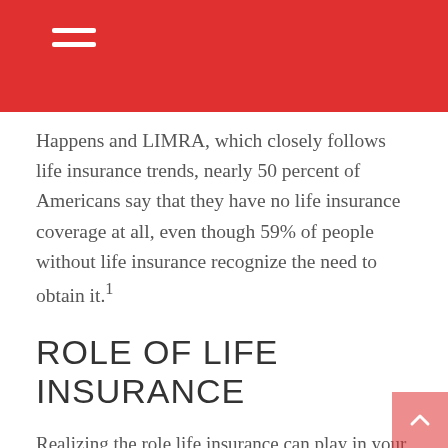Happens and LIMRA, which closely follows life insurance trends, nearly 50 percent of Americans say that they have no life insurance coverage at all, even though 59% of people without life insurance recognize the need to obtain it.¹
ROLE OF LIFE INSURANCE
Realizing the role life insurance can play in your family’s finances is an important first step. A critical second step is determining how much life insurance you may need.
Several factors will affect the cost and availability of life insurance, including age, health, and the type and amount of insurance purchased. Life insurance